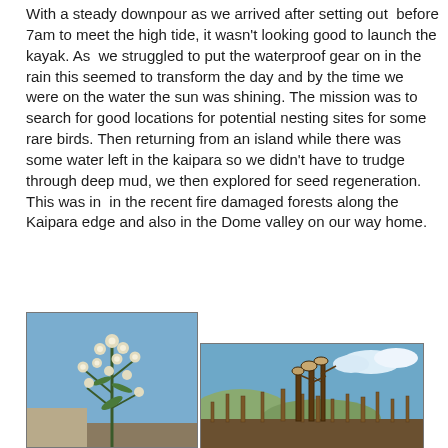With a steady downpour as we arrived after setting out before 7am to meet the high tide, it wasn't looking good to launch the kayak. As we struggled to put the waterproof gear on in the rain this seemed to transform the day and by the time we were on the water the sun was shining. The mission was to search for good locations for potential nesting sites for some rare birds. Then returning from an island while there was some water left in the kaipara so we didn't have to trudge through deep mud, we then explored for seed regeneration. This was in in the recent fire damaged forests along the Kaipara edge and also in the Dome valley on our way home.
[Figure (photo): Close-up photograph of a plant with fluffy white/cream round flower heads (possibly manuka or similar native NZ plant) against a blue sky background with flat land visible.]
[Figure (photo): Photograph of fire-damaged vegetation and trees with brown dried foliage against a blue sky with clouds.]